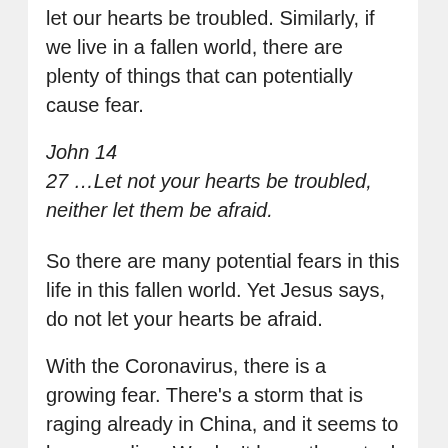let our hearts be troubled. Similarly, if we live in a fallen world, there are plenty of things that can potentially cause fear.
John 14
27 …Let not your hearts be troubled, neither let them be afraid.
So there are many potential fears in this life in this fallen world. Yet Jesus says, do not let your hearts be afraid.
With the Coronavirus, there is a growing fear. There's a storm that is raging already in China, and it seems to be spreading. We don't know the actual numbers because you get